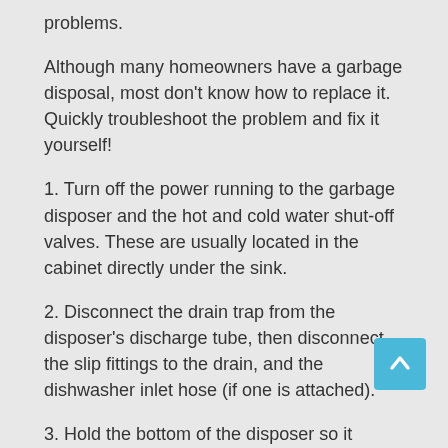problems.
Although many homeowners have a garbage disposal, most don't know how to replace it. Quickly troubleshoot the problem and fix it yourself!
1. Turn off the power running to the garbage disposer and the hot and cold water shut-off valves. These are usually located in the cabinet directly under the sink.
2. Disconnect the drain trap from the disposer's discharge tube, then disconnect the slip fittings to the drain, and the dishwasher inlet hose (if one is attached).
3. Hold the bottom of the disposer so it doesn't fall as you unscrew it from the sink. Then turn clockwise.
4. Turn the disposer upside down and unscrew the electrical cover plate from the bottom.
5. Disconnect the electrical cable connector then pull out the wire nuts…